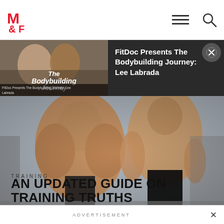M&F (Muscle & Fitness) — navigation bar with logo, hamburger menu, and search icon
[Figure (screenshot): Ad overlay: thumbnail of FitDoc Presents The Bodybuilding Journey Lee Labrada video with couple smiling and text overlay, beside dark panel with white text reading 'FitDoc Presents The Bodybuilding Journey: Lee Labrada' and a close X button]
[Figure (photo): Hero image of two muscular male bodybuilders in a gym — one showing back muscles, one facing forward with defined abs, in black and white with slight color toning]
TRAINING
AN UPDATED GUIDE ON TRAINING TRUTHS
ADVERTISEMENT